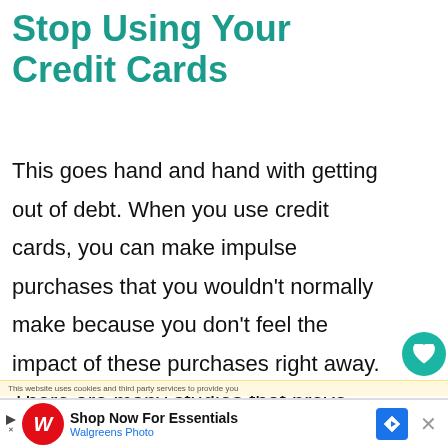Stop Using Your Credit Cards
This goes hand and hand with getting out of debt. When you use credit cards, you can make impulse purchases that you wouldn't normally make because you don't feel the impact of these purchases right away. There are many studies that prove consumers will spend more money with a
This website uses cookies and third party services to provide you
[Figure (screenshot): Ad banner: Walgreens Photo - Shop Now For Essentials]